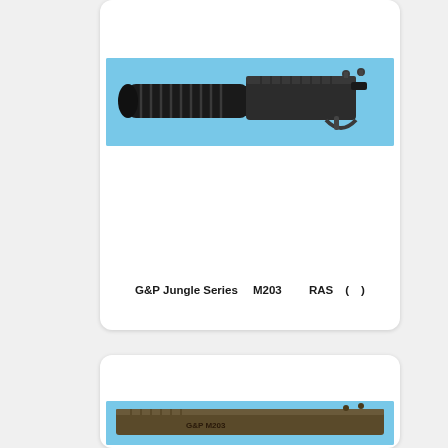[Figure (photo): G&P Jungle Series M203 grenade launcher with RAS mount - airsoft replica, black/dark colored with ribbed barrel shroud, shown from the side against light blue background]
G&P Jungle Series 　M203　　 RAS　(　)
[Figure (photo): Second product photo partially visible - appears to be another airsoft accessory shown against light blue background, bottom of page]